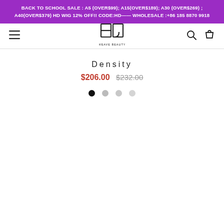BACK TO SCHOOL SALE : A5 (OVER$99); A15(OVER$189); A30 (OVER$269) ; A40(OVER$379) HD WIG 12% OFF!! CODE:HD—— WHOLESALE :+86 185 8870 9918
[Figure (logo): HJ Weave Beauty brand logo with stylized H and J letters and text WEAVE BEAUTY below]
Density
$206.00  $232.00